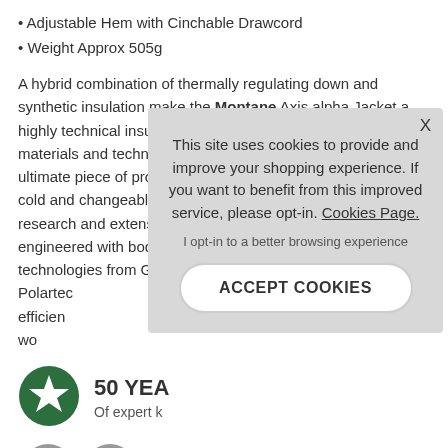• Adjustable Hem with Cinchable Drawcord
• Weight Approx 505g
A hybrid combination of thermally regulating down and synthetic insulation make the Montane Axis alpha Jacket a highly technical insulated outdoor jacket packed with modern materials and technologies. The Axis Alpha Jacket is the ultimate piece of protective clothing for fast-paced activity in cold and changeable conditions. Based on cold chamber lab research and extensively athlete-tested, this jacket has been engineered with body-mapped fabric and insulation technologies from Gore-Tex Infinium™, Pertex Air and Polartec elements with efficien comfortable when wo
50 YEA
Of expert k
[Figure (other): Cookie consent modal overlay with message: This site uses cookies to provide and improve your shopping experience. If you want to benefit from this improved service, please opt-in. Cookies Page. I opt-in to a better browsing experience. ACCEPT COOKIES button.]
[Figure (other): Social media icons: Facebook circle icon (grey), Twitter/other circle icon (grey), and additional social icons partially visible at bottom.]